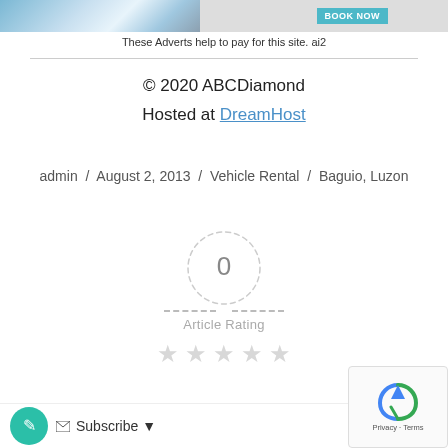[Figure (other): Advertisement banner with travel image and BOOK NOW button]
These Adverts help to pay for this site. ai2
© 2020 ABCDiamond
Hosted at DreamHost
admin / August 2, 2013 / Vehicle Rental / Baguio, Luzon
[Figure (infographic): Article Rating widget showing 0 in dashed circle with dashed lines and 5 empty stars below]
Subscribe